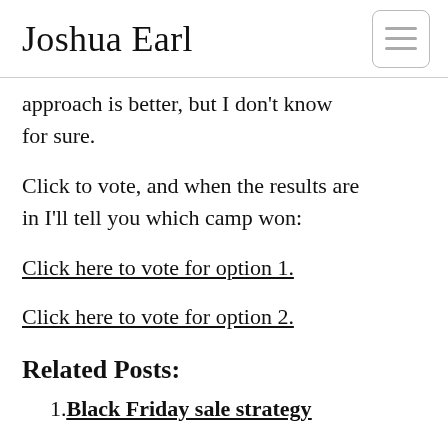Joshua Earl
approach is better, but I don’t know for sure.
Click to vote, and when the results are in I’ll tell you which camp won:
Click here to vote for option 1.
Click here to vote for option 2.
Related Posts:
Black Friday sale strategy